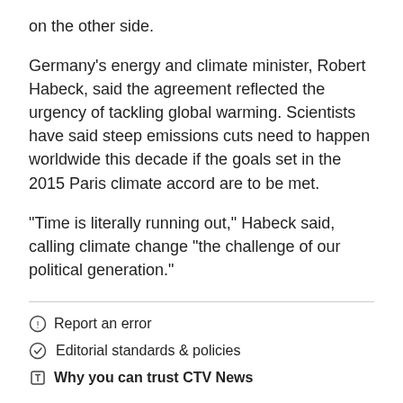on the other side.
Germany's energy and climate minister, Robert Habeck, said the agreement reflected the urgency of tackling global warming. Scientists have said steep emissions cuts need to happen worldwide this decade if the goals set in the 2015 Paris climate accord are to be met.
"Time is literally running out," Habeck said, calling climate change "the challenge of our political generation."
Report an error
Editorial standards & policies
Why you can trust CTV News